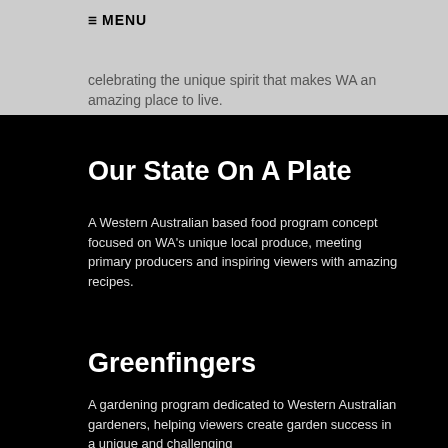☰ MENU
celebrating the unique spirit that makes WA an amazing place to live.
Our State On A Plate
A Western Australian based food program concept focused on WA's unique local produce, meeting primary producers and inspiring viewers with amazing recipes.
Greenfingers
A gardening program dedicated to Western Australian gardeners, helping viewers create garden success in a unique and challenging